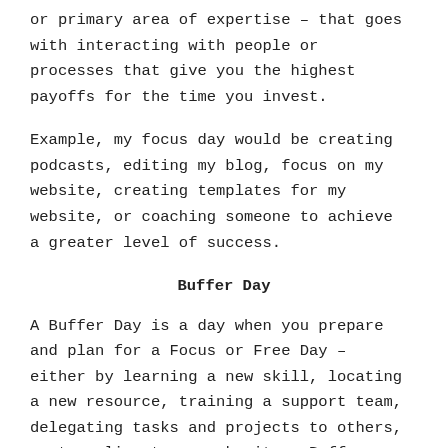or primary area of expertise – that goes with interacting with people or processes that give you the highest payoffs for the time you invest.
Example, my focus day would be creating podcasts, editing my blog, focus on my website, creating templates for my website, or coaching someone to achieve a greater level of success.
Buffer Day
A Buffer Day is a day when you prepare and plan for a Focus or Free Day – either by learning a new skill, locating a new resource, training a support team, delegating tasks and projects to others, or traveling to a work site.  Buffer